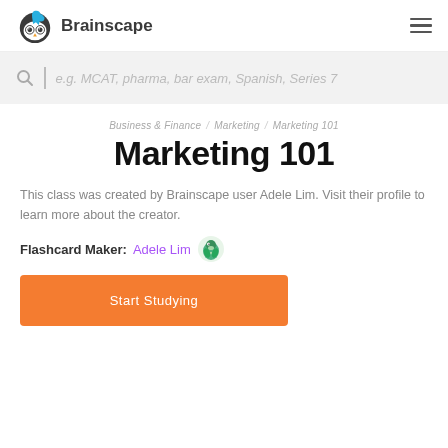Brainscape
e.g. MCAT, pharma, bar exam, Spanish, Series 7
Business & Finance / Marketing / Marketing 101
Marketing 101
This class was created by Brainscape user Adele Lim. Visit their profile to learn more about the creator.
Flashcard Maker: Adele Lim
Start Studying